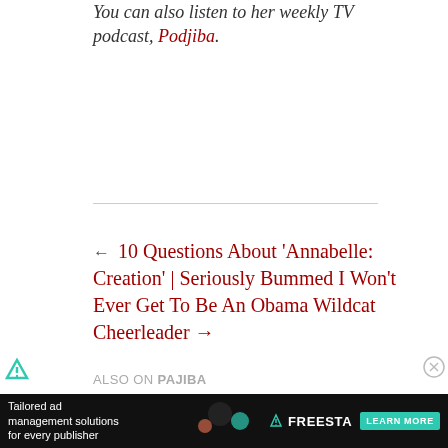You can also listen to her weekly TV podcast, Podjiba.
← 10 Questions About 'Annabelle: Creation' | Seriously Bummed I Won't Ever Get To Be An Obama Wildcat Cheerleader →
ALSO ON PAJIBA
[Figure (photo): Thumbnail image for a Pajiba article, blurred outdoor scene]
[Figure (infographic): Advertisement banner: Tailored ad management solutions for every publisher — Freestar LEARN MORE]